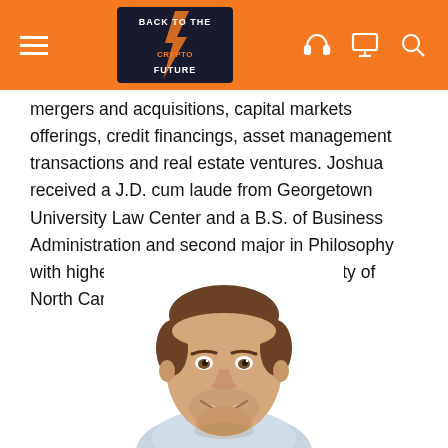Back to the Crypto Future — navigation bar with hamburger menu, podcast logo, headphone icon, monitor icon, search icon
mergers and acquisitions, capital markets offerings, credit financings, asset management transactions and real estate ventures. Joshua received a J.D. cum laude from Georgetown University Law Center and a B.S. of Business Administration and second major in Philosophy with highest distinction from the University of North Carolina, at Chapel Hill.
[Figure (photo): Professional headshot of a smiling man with short brown hair, wearing a light blue collared shirt, on a white background]